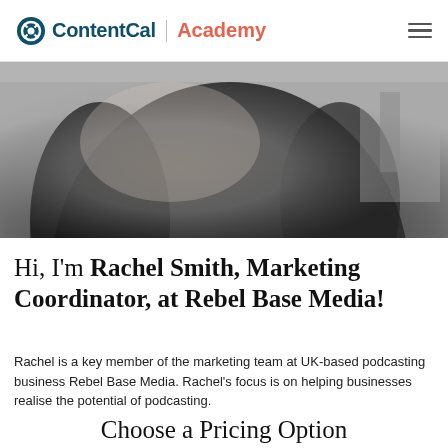ContentCal | Academy
[Figure (photo): Black and white photo of a person with dark hair, shown from behind/side angle]
Hi, I'm Rachel Smith, Marketing Coordinator, at Rebel Base Media!
Rachel is a key member of the marketing team at UK-based podcasting business Rebel Base Media. Rachel's focus is on helping businesses realise the potential of podcasting.
Choose a Pricing Option